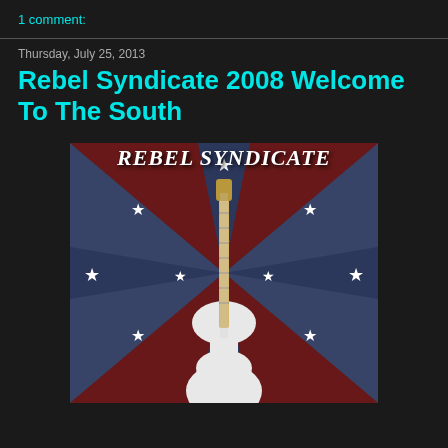1 comment:
Thursday, July 25, 2013
Rebel Syndicate 2008 Welcome To The South
[Figure (photo): Album cover for Rebel Syndicate 2008 'Welcome To The South' showing a white electric guitar against a Confederate battle flag background with 'REBEL SYNDICATE' text at the top.]